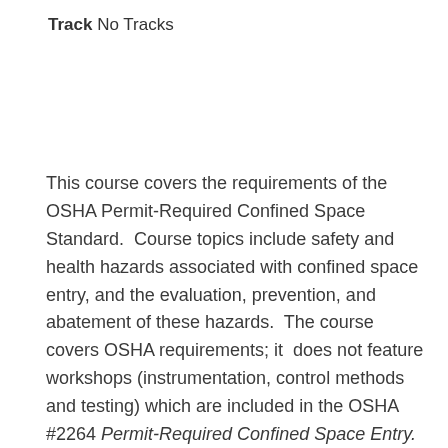Track No Tracks
This course covers the requirements of the OSHA Permit-Required Confined Space Standard.  Course topics include safety and health hazards associated with confined space entry, and the evaluation, prevention, and abatement of these hazards.  The course covers OSHA requirements; it  does not feature workshops (instrumentation, control methods and testing) which are included in the OSHA #2264 Permit-Required Confined Space Entry.  This course is designed for small employers or a designated representative (line supervisor or manager) with the responsibility to develop a permit-required confined space program.  Upon course completion students will have a basic understanding of confined space hazards, evaluating and abatement of